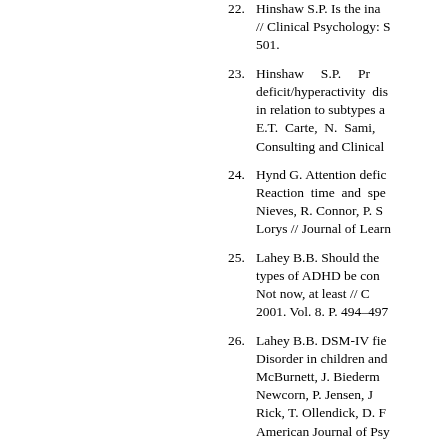22. Hinshaw S.P. Is the ina... // Clinical Psychology: S... 501.
23. Hinshaw S.P. Pr... deficit/hyperactivity dis... in relation to subtypes a... E.T. Carte, N. Sami, ... Consulting and Clinical...
24. Hynd G. Attention defic... Reaction time and spe... Nieves, R. Connor, P. S... Lorys // Journal of Learn...
25. Lahey B.B. Should the... types of ADHD be con... Not now, at least // C... 2001. Vol. 8. P. 494-497.
26. Lahey B.B. DSM-IV fie... Disorder in children and... McBurnett, J. Biederm... Newcorn, P. Jensen, J... Rick, T. Ollendick, D. F... American Journal of Psy...
27. Lahey B.B. Dimensions... B.B. Lahey, W.E. Pelh... Murphy, G. Hynd, M. ... Journal of the Ameri... Psychiatry. 1988. Vol. 2...
28. Lahey B.B. Teacher r...